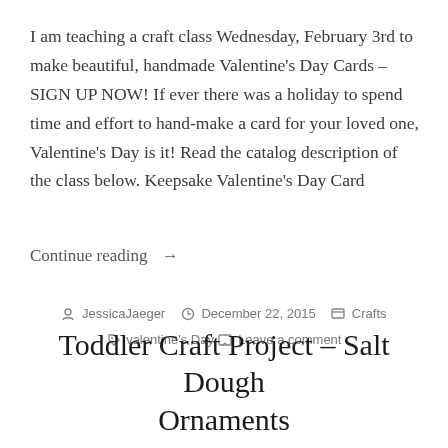I am teaching a craft class Wednesday, February 3rd to make beautiful, handmade Valentine's Day Cards – SIGN UP NOW! If ever there was a holiday to spend time and effort to hand-make a card for your loved one, Valentine's Day is it! Read the catalog description of the class below. Keepsake Valentine's Day Card
Continue reading →
JessicaJaeger  December 22, 2015  Crafts  valentine's Day  Leave a comment
Toddler Craft Project – Salt Dough Ornaments